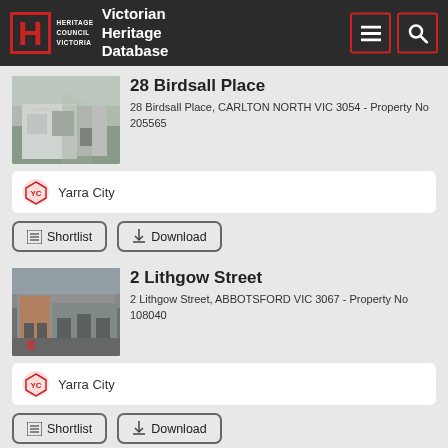Heritage Council Victoria — Victorian Heritage Database
28 Birdsall Place
28 Birdsall Place, CARLTON NORTH VIC 3054 - Property No 205565
Yarra City
2 Lithgow Street
2 Lithgow Street, ABBOTSFORD VIC 3067 - Property No 108040
Yarra City